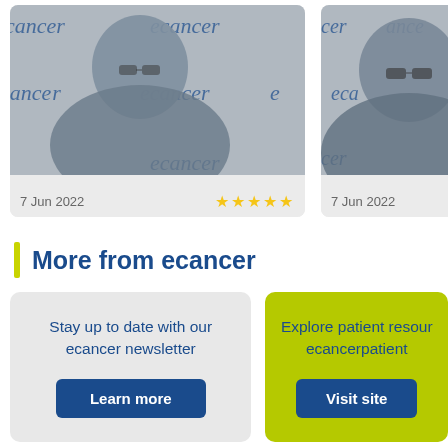[Figure (photo): Video card: man with glasses in a dark blazer against ecancer branded background, dated 7 Jun 2022, 4-star rating]
[Figure (photo): Video card: man with glasses in dark suit against ecancer branded background, dated 7 Jun 2022, partially cropped]
More from ecancer
Stay up to date with our ecancer newsletter
Learn more
Explore patient resources at ecancerpatient
Visit site